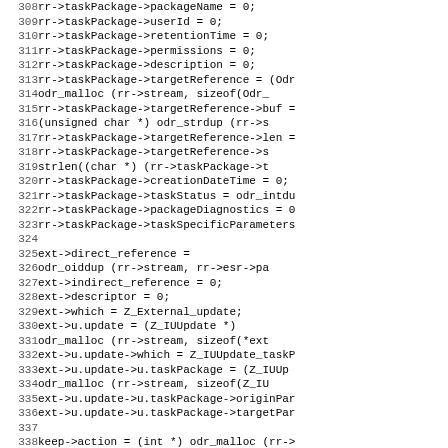Code listing lines 308-339 showing C source code with rr->taskPackage and ext->u.update assignments